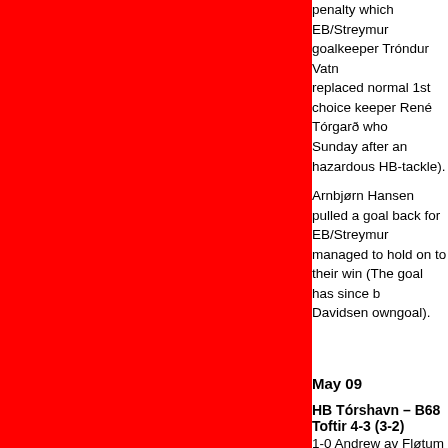penalty which EB/Streymur goalkeeper Tróndur Vatn... replaced normal 1st choice keeper René Tórgarð who... Sunday after an hazardous HB-tackle).
Arnbjørn Hansen pulled a goal back for EB/Streymur... managed to hold on to their win (The goal has since b... Davidsen owngoal).
May 09
HB Tórshavn – B68 Toftir 4-3 (3-2)
1-0 Andrew av Fløtum
2-0 Fróði Benjaminsen
2-1 Jóhan Dávur Højgaard
3-1 Milan Kuljic
3-2 Pól Jóhannus Justinussen
3-3 Oddur Højgaard
4-3 Fróði Benjaminsen
B68 looked to have snatched a draw as Oddur Højga... minute, but HB still managed to get the winner when t... fantastic finish from Fróði Benjaminsen which takes H... points clear of B36 who drew with FC Suðuroy.